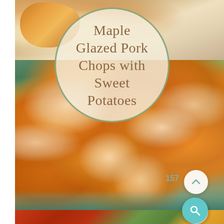[Figure (photo): Recipe card image with three stacked food photos overlaid by a circular title badge. Top image shows maple glazed pork chops on a plate. Middle image shows sweet potatoes and onions in a glass baking dish. Bottom image shows another dish with red sauce and greens. A circular semi-transparent overlay in the center contains the recipe title text. UI buttons (up arrow, heart, search) appear on the right side.]
Maple Glazed Pork Chops with Sweet Potatoes